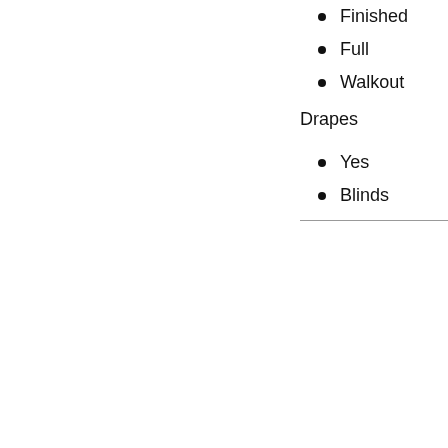Finished
Full
Walkout
Drapes
Yes
Blinds